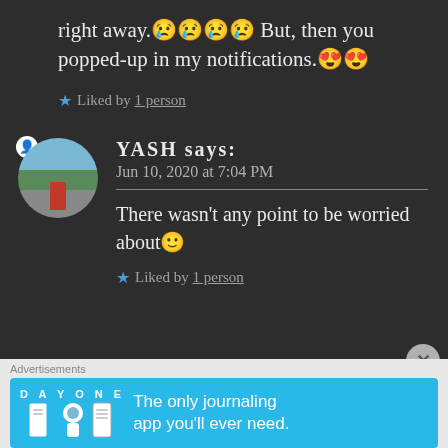right away.😢😢😢😢 But, then you popped-up in my notifications.😍😍
★ Liked by 1 person
YASH says: Jun 10, 2020 at 7:04 PM
There wasn't any point to be worried about🙂
★ Liked by 1 person
Advertisements
DAY ONE — The only journaling app you'll ever need.